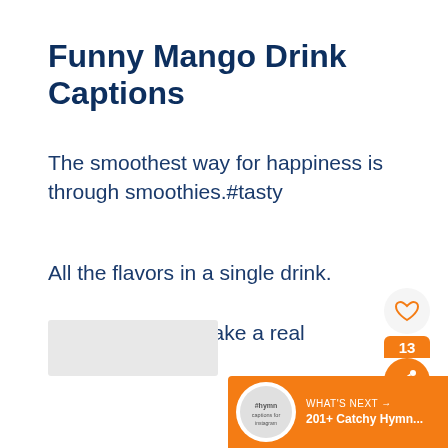Funny Mango Drink Captions
The smoothest way for happiness is through smoothies.#tasty
All the flavors in a single drink.
The real fruit to make a real drink.#realmango
[Figure (infographic): Social sharing panel with heart icon and orange share button showing count 13]
[Figure (infographic): What's Next banner with orange background showing '201+ Catchy Hymn...' link]